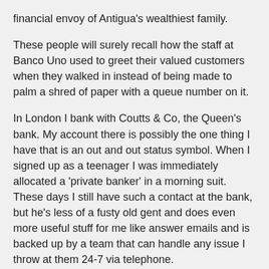financial envoy of Antigua's wealthiest family.
These people will surely recall how the staff at Banco Uno used to greet their valued customers when they walked in instead of being made to palm a shred of paper with a queue number on it.
In London I bank with Coutts & Co, the Queen's bank. My account there is possibly the one thing I have that is an out and out status symbol. When I signed up as a teenager I was immediately allocated a 'private banker' in a morning suit. These days I still have such a contact at the bank, but he's less of a fusty old gent and does even more useful stuff for me like answer emails and is backed up by a team that can handle any issue I throw at them 24-7 via telephone.
Such attention doesn't come cheap, but they have always been broadly tolerant of my foibles, and as for my mother, she was probably just about the worst customer any bank could hope for, yet they were always solicitous and diplomatic (almost to a point) with her.